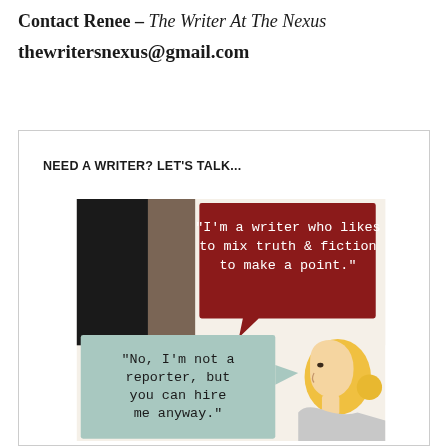Contact Renee – The Writer At The Nexus
thewritersnexus@gmail.com
NEED A WRITER? LET'S TALK...
[Figure (illustration): Comic-style illustration of a blonde woman in profile with two speech bubbles. First speech bubble (dark red): 'I'm a writer who likes to mix truth & fiction to make a point.' Second speech bubble (light teal/mint): 'No, I'm not a reporter, but you can hire me anyway.']